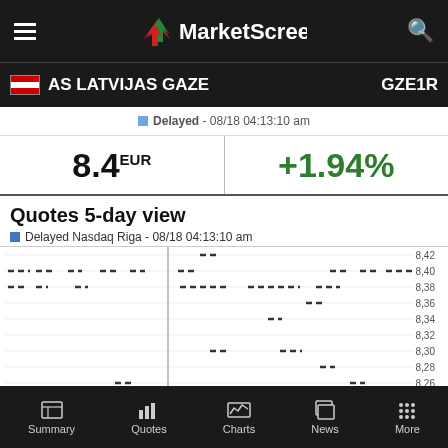MarketScreener
AS LATVIJAS GAZE   GZE1R
Delayed - 08/18 04:13:10 am
8.4 EUR
+1.94%
Quotes 5-day view
Delayed Nasdaq Riga - 08/18 04:13:10 am
[Figure (continuous-plot): 5-day quote chart for AS Latvijas Gaze showing price movements between approximately 8.22 and 8.42 EUR, displayed as a dashed/dotted line chart with y-axis labels from 8.22 to 8.42 at 0.02 intervals. A vertical line divides the chart around the second day.]
Summary  Quotes  Charts  News  More